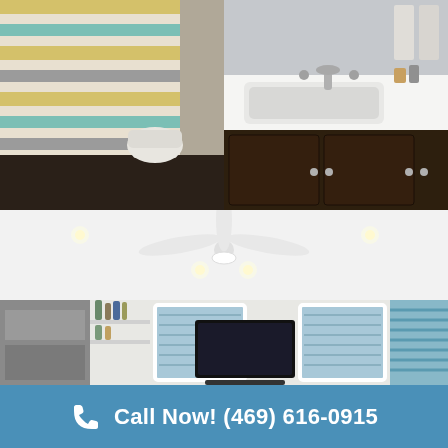[Figure (photo): Before photo: bathroom with colorful striped shower curtain (yellow, teal, gray stripes) and toilet visible]
[Figure (photo): After photo: renovated bathroom with new white quartz countertop, undermount sink, chrome faucet, and dark wood cabinets with chrome pulls]
[Figure (photo): Interior room photo: bright living/family room with white ceiling, ceiling fan with light, recessed lighting, wall-mounted TV, two windows with horizontal blinds, built-in shelves with bar accessories on the left, and a window with zebra blinds on the right]
Call Now! (469) 616-0915